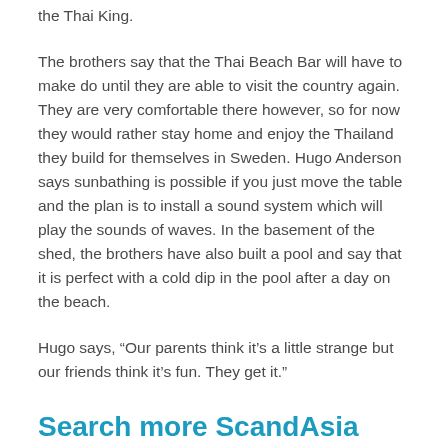the Thai King.
The brothers say that the Thai Beach Bar will have to make do until they are able to visit the country again. They are very comfortable there however, so for now they would rather stay home and enjoy the Thailand they build for themselves in Sweden. Hugo Anderson says sunbathing is possible if you just move the table and the plan is to install a sound system which will play the sounds of waves. In the basement of the shed, the brothers have also built a pool and say that it is perfect with a cold dip in the pool after a day on the beach.
Hugo says, “Our parents think it’s a little strange but our friends think it’s fun. They get it.”
Search more ScandAsia